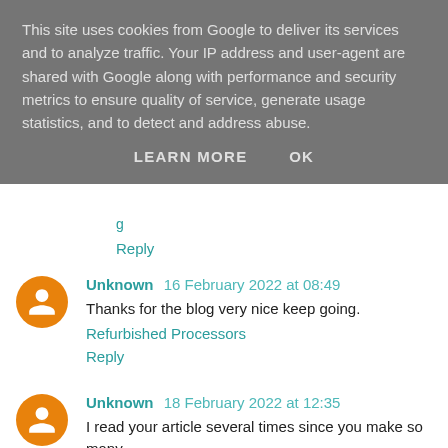This site uses cookies from Google to deliver its services and to analyze traffic. Your IP address and user-agent are shared with Google along with performance and security metrics to ensure quality of service, generate usage statistics, and to detect and address abuse.
LEARN MORE    OK
Reply
Unknown  16 February 2022 at 08:49
Thanks for the blog very nice keep going.
Refurbished Processors
Reply
Unknown  18 February 2022 at 12:35
I read your article several times since you make so many